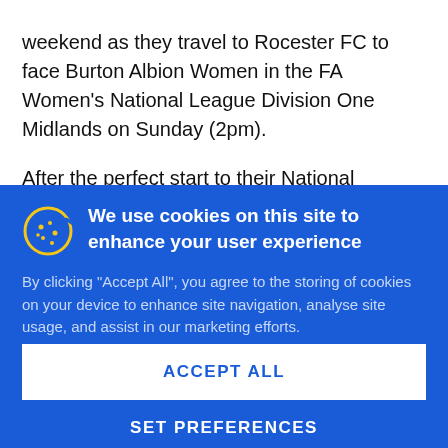weekend as they travel to Rocester FC to face Burton Albion Women in the FA Women's National League Division One Midlands on Sunday (2pm).
After the perfect start to their National League adventure last Sunday, Port Women are due to travel to...
We use cookies on this site to enhance your user experience
By clicking “Accept All”, you agree to the storing of cookies on your device to enhance site navigation, analyse site usage, and assist in our marketing efforts.
You can tailor your site experience by clicking “Set Preferences”.
ACCEPT ALL
SET PREFERENCES